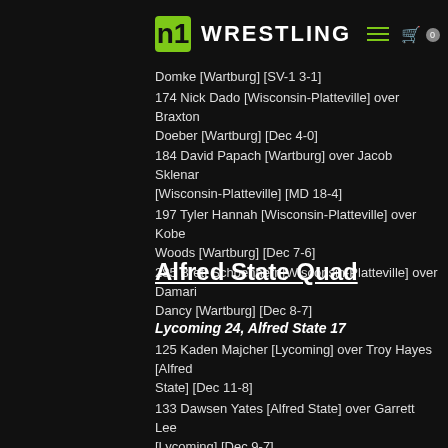NE Wrestling
165 Cov Ruess [Wisconsin-Platteville] over Matthew Domke [Wartburg] [SV-1 3-1]
174 Nick Dado [Wisconsin-Platteville] over Braxton Doeber [Wartburg] [Dec 4-0]
184 David Papach [Wartburg] over Jacob Sklenar [Wisconsin-Platteville] [MD 18-4]
197 Tyler Hannah [Wisconsin-Platteville] over Kobe Woods [Wartburg] [Dec 7-6]
285 Brett Schoenherr [Wisconsin-Platteville] over Damari Dancy [Wartburg] [Dec 8-7]
Alfred State Quad
Lycoming 24, Alfred State 17
125 Kaden Majcher [Lycoming] over Troy Hayes [Alfred State] [Dec 11-8]
133 Dawsen Yates [Alfred State] over Garrett Lee [Lycoming] [Dec 9-7]
141 Wiley Kahler [Lycoming] over Elijah Moshenek [Alfred State] [Dec 9-3]
149 Logan Bartlett [Lycoming] over Sean Peterson [Alfred State] [Dec 10-3]
157 Hunter O'Connor [Lycoming] over Justin Smith [Alfred State] [Dec 9-3]